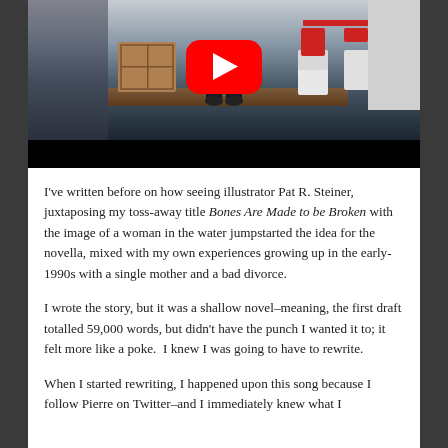[Figure (screenshot): YouTube video thumbnail showing a person sitting on a wooden surface with white furniture and red accents in the background, with a YouTube play button overlay. A black bar appears at the bottom of the video frame.]
I've written before on how seeing illustrator Pat R. Steiner, juxtaposing my toss-away title Bones Are Made to be Broken with the image of a woman in the water jumpstarted the idea for the novella, mixed with my own experiences growing up in the early-1990s with a single mother and a bad divorce.
I wrote the story, but it was a shallow novel–meaning, the first draft totalled 59,000 words, but didn't have the punch I wanted it to; it felt more like a poke.  I knew I was going to have to rewrite.
When I started rewriting, I happened upon this song because I follow Pierre on Twitter–and I immediately knew what I